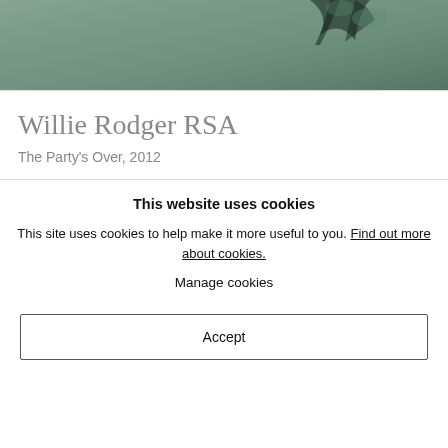[Figure (photo): Dark greenish-teal photograph, partially visible at top of page, appears to show a natural or abstract scene with dark shapes against a muted green background.]
Willie Rodger RSA
The Party's Over, 2012
This website uses cookies
This site uses cookies to help make it more useful to you. Find out more about cookies.
Manage cookies
Accept